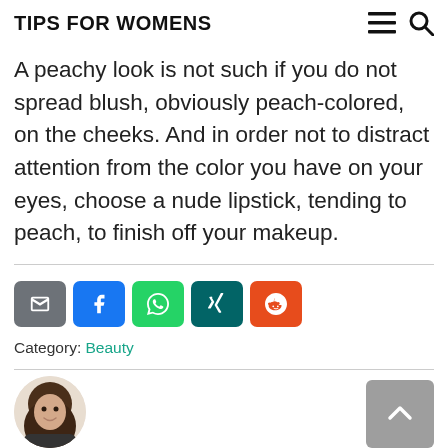TIPS FOR WOMENS
A peachy look is not such if you do not spread blush, obviously peach-colored, on the cheeks. And in order not to distract attention from the color you have on your eyes, choose a nude lipstick, tending to peach, to finish off your makeup.
Category: Beauty
[Figure (other): Circular avatar photo of a woman smiling, partially visible at bottom of page]
[Figure (other): Gray back-to-top button with upward chevron arrow]